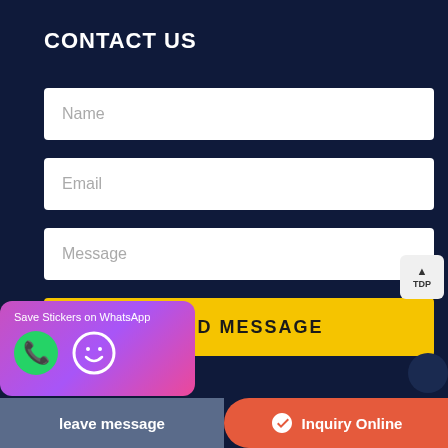CONTACT US
Name
Email
Message
SEND MESSAGE
Save Stickers on WhatsApp
leave message
Inquiry Online